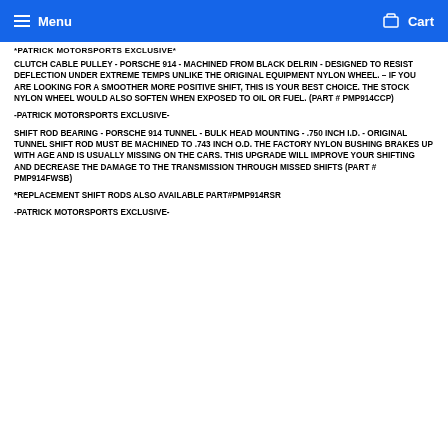Menu   Cart
*PATRICK MOTORSPORTS EXCLUSIVE*
CLUTCH CABLE PULLEY - PORSCHE 914 - MACHINED FROM BLACK DELRIN - DESIGNED TO RESIST DEFLECTION UNDER EXTREME TEMPS UNLIKE THE ORIGINAL EQUIPMENT NYLON WHEEL. – IF YOU ARE LOOKING FOR A SMOOTHER MORE POSITIVE SHIFT, THIS IS YOUR BEST CHOICE. THE STOCK NYLON WHEEL WOULD ALSO SOFTEN WHEN EXPOSED TO OIL OR FUEL. (PART # PMP914CCP)
-PATRICK MOTORSPORTS EXCLUSIVE-
SHIFT ROD BEARING - PORSCHE 914 TUNNEL - BULK HEAD MOUNTING - .750 INCH I.D. - ORIGINAL TUNNEL SHIFT ROD MUST BE MACHINED TO .743 INCH O.D. THE FACTORY NYLON BUSHING BRAKES UP WITH AGE AND IS USUALLY MISSING ON THE CARS. THIS UPGRADE WILL IMPROVE YOUR SHIFTING AND DECREASE THE DAMAGE TO THE TRANSMISSION THROUGH MISSED SHIFTS (PART # PMP914FWSB)
*REPLACEMENT SHIFT RODS ALSO AVAILABLE PART#PMP914RSR
-PATRICK MOTORSPORTS EXCLUSIVE-